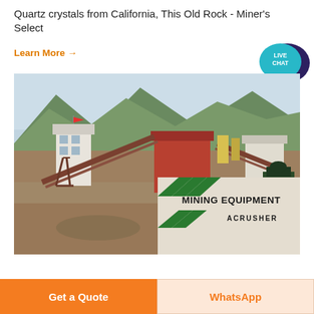Quartz crystals from California, This Old Rock - Miner's Select
Learn More →
[Figure (photo): Industrial mining equipment facility with conveyor belts, processing structures, control tower with red flags, mountains in the background. Bottom-right overlay shows 'MINING EQUIPMENT ACRUSHER' branding with green diagonal stripes.]
Get a Quote
WhatsApp